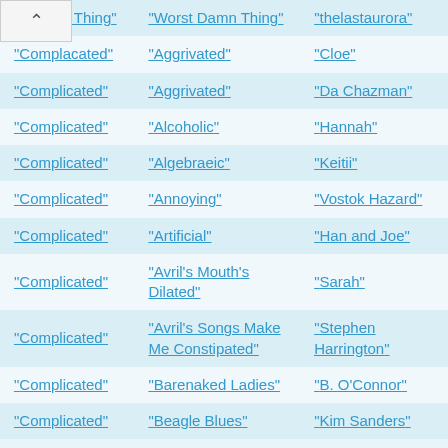| Song | Parody Title | Artist |
| --- | --- | --- |
| "Worst Damn Thing" | "Worst Damn Thing" | "thelastaurora" |
| "Complacated" | "Aggrivated" | "Cloe" |
| "Complicated" | "Aggrivated" | "Da Chazman" |
| "Complicated" | "Alcoholic" | "Hannah" |
| "Complicated" | "Algebraeic" | "Keitii" |
| "Complicated" | "Annoying" | "Vostok Hazard" |
| "Complicated" | "Artificial" | "Han and Joe" |
| "Complicated" | "Avril's Mouth's Dilated" | "Sarah" |
| "Complicated" | "Avril's Songs Make Me Constipated" | "Stephen Harrington" |
| "Complicated" | "Barenaked Ladies" | "B. O'Connor" |
| "Complicated" | "Beagle Blues" | "Kim Sanders" |